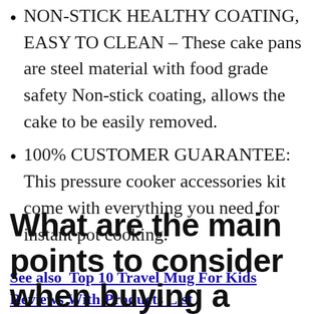NON-STICK HEALTHY COATING, EASY TO CLEAN – These cake pans are steel material with food grade safety Non-stick coating, allows the cake to be easily removed.
100% CUSTOMER GUARANTEE: This pressure cooker accessories kit come with everything you need for instant pot cooking.
See also  Top 10 Travel Mug For Kids Reviews With Products List
What are the main points to consider when buying a